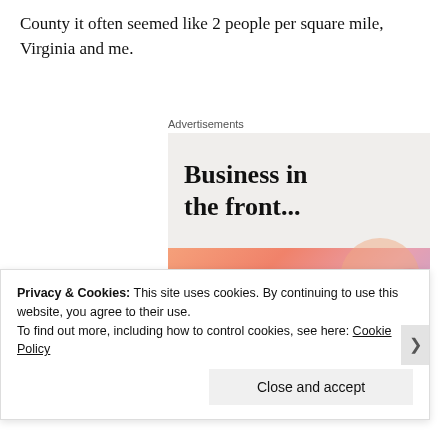County it often seemed like 2 people per square mile, Virginia and me.
Advertisements
[Figure (screenshot): Advertisement banner: top half shows 'Business in the front...' in bold on a light beige background; bottom half shows 'WordPress in the back.' in bold on a colorful gradient background with decorative blobs in orange, pink, and lavender.]
Privacy & Cookies: This site uses cookies. By continuing to use this website, you agree to their use.
To find out more, including how to control cookies, see here: Cookie Policy
Close and accept